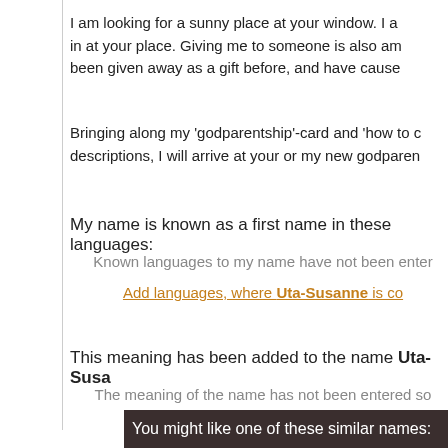I am looking for a sunny place at your window. I a in at your place. Giving me to someone is also am been given away as a gift before, and have cause
Bringing along my 'godparentship'-card and 'how to c descriptions, I will arrive at your or my new godparen
My name is known as a first name in these languages:
Known languages to my name have not been enter
Add languages, where Uta-Susanne is co
This meaning has been added to the name Uta-Susa
The meaning of the name has not been entered so
Add a meaning to the name of Uta-Su
You might like one of these similar names: